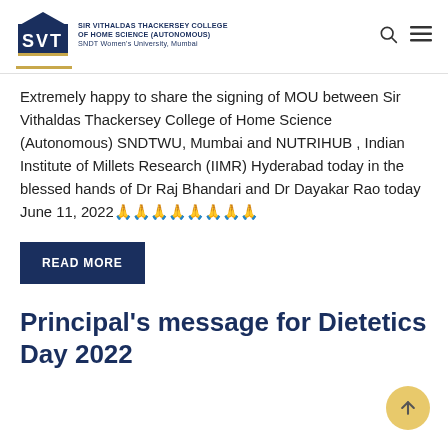SIR VITHALDAS THACKERSEY COLLEGE OF HOME SCIENCE (AUTONOMOUS) SNDT Women's University, Mumbai
Extremely happy to share the signing of MOU between Sir Vithaldas Thackersey College of Home Science (Autonomous) SNDTWU, Mumbai and NUTRIHUB , Indian Institute of Millets Research (IIMR) Hyderabad today in the blessed hands of Dr Raj Bhandari and Dr Dayakar Rao today June 11, 2022🙏🙏🙏🙏🙏🙏🙏🙏
READ MORE
Principal's message for Dietetics Day 2022